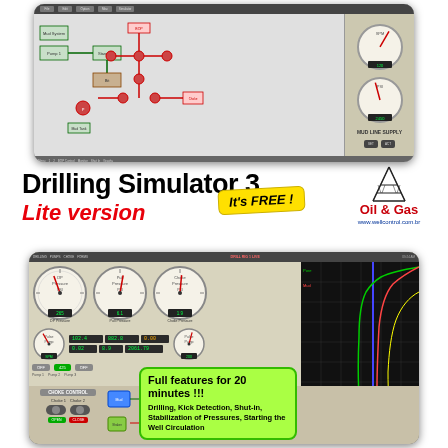[Figure (screenshot): Drilling simulator software screenshot showing schematic view with green flow lines, BOP stack in red, and analog gauges on the right side]
Drilling Simulator 3
Lite version
It's FREE !
[Figure (logo): Oil & Gas company logo with oil derrick icon and text 'Oil & Gas' and website www.wellcontrol.com.br]
[Figure (screenshot): Drilling simulator showing pressure gauges (DP Pressure, Pull Pressure, Choke Pressure), digital readouts, choke control panel, and a depth vs pressure graph. Callout box reads: Full features for 20 minutes !!! Drilling, Kick Detection, Shut-in, Stabilization of Pressures, Starting the Well Circulation]